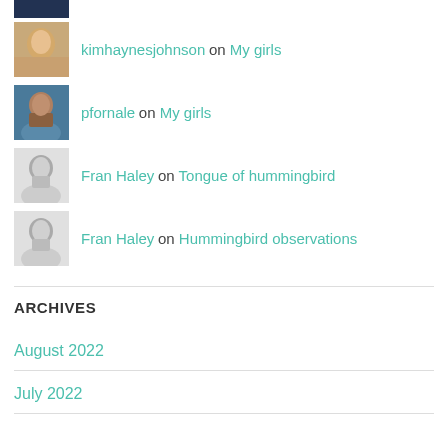kimhaynesjohnson on My girls
pfornale on My girls
Fran Haley on Tongue of hummingbird
Fran Haley on Hummingbird observations
ARCHIVES
August 2022
July 2022